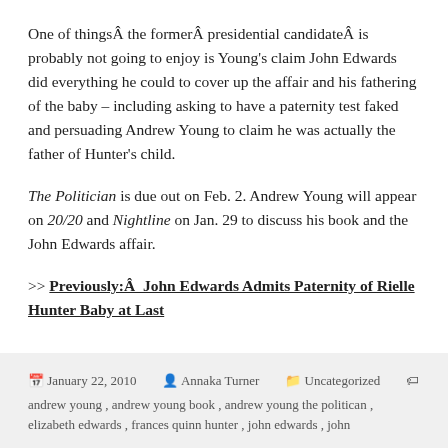One of thingsÂ the formerÂ presidential candidateÂ is probably not going to enjoy is Young’s claim John Edwards did everything he could to cover up the affair and his fathering of the baby – including asking to have a paternity test faked and persuading Andrew Young to claim he was actually the father of Hunter’s child.
The Politician is due out on Feb. 2. Andrew Young will appear on 20/20 and Nightline on Jan. 29 to discuss his book and the John Edwards affair.
>> Previously:Â  John Edwards Admits Paternity of Rielle Hunter Baby at Last
January 22, 2010   Annaka Turner   Uncategorized   andrew young , andrew young book , andrew young the politican , elizabeth edwards , frances quinn hunter , john edwards , john